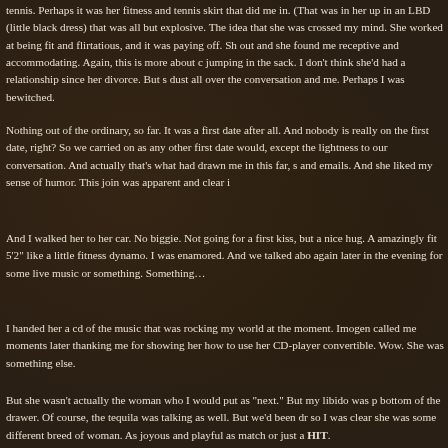tennis. Perhaps it was her fitness and tennis skirt that did me in. (That was in her up in an LBD (little black dress) that was all but explosive. The idea that she was crossed my mind. She worked at being fit and flirtatious, and it was paying off. Sh out and she found me receptive and accommodating. Again, this is more about c jumping in the sack. I don't think she'd had a relationship since her divorce. But s dust all over the conversation and me. Perhaps I was bewitched.
Nothing out of the ordinary, so far. It was a first date after all. And nobody is really on the first date, right? So we carried on as any other first date would, except the lightness to our conversation. And actually that's what had drawn me in this far, s and emails. And she liked my sense of humor. This join was apparent and clear i
And I walked her to her car. No biggie. Not going for a first kiss, but a nice hug. A amazingly fit 5'2" like a little fitness dynamo. I was enamored. And we talked abo again later in the evening for some live music or something. Something…
I handed her a cd of the music that was rocking my world at the moment. Imogen called me moments later thanking me for showing her how to use her CD-player convertible. Wow. She was something else.
But she wasn't actually the woman who I would put as "next." But my libido was p bottom of the drawer. Of course, the tequila was talking as well. But we'd been dr so I was clear she was some different breed of woman. As joyous and playful as match or just a HIT.